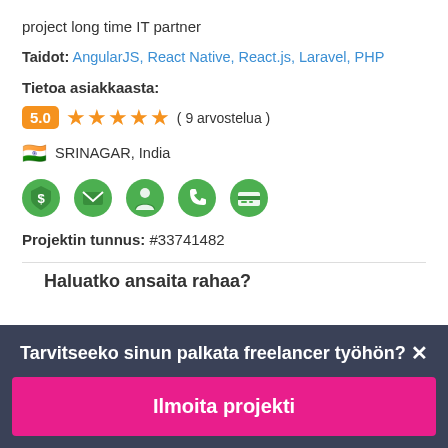project long time IT partner
Taidot: AngularJS, React Native, React.js, Laravel, PHP
Tietoa asiakkaasta:
5.0 ★★★★★ ( 9 arvostelua )
🇮🇳 SRINAGAR, India
[Figure (infographic): Five green icons: dollar shield, envelope, person, phone, credit card]
Projektin tunnus: #33741482
Haluatko ansaita rahaa?
Tarvitseeko sinun palkata freelancer työhön?
Ilmoita projekti